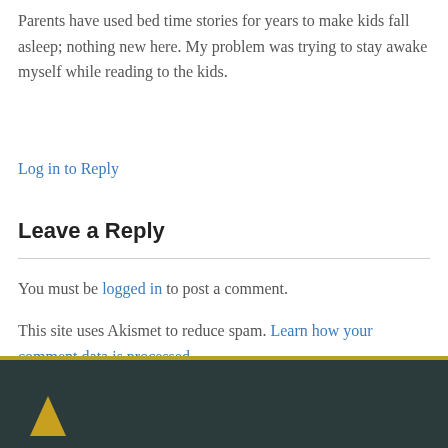Parents have used bed time stories for years to make kids fall asleep; nothing new here. My problem was trying to stay awake myself while reading to the kids.
Log in to Reply
Leave a Reply
You must be logged in to post a comment.
This site uses Akismet to reduce spam. Learn how your comment data is processed.